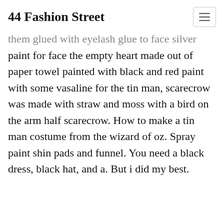44 Fashion Street
them glued with eyelash glue to face silver paint for face the empty heart made out of paper towel painted with black and red paint with some vasaline for the tin man, scarecrow was made with straw and moss with a bird on the arm half scarecrow. How to make a tin man costume from the wizard of oz. Spray paint shin pads and funnel. You need a black dress, black hat, and a. But i did my best.